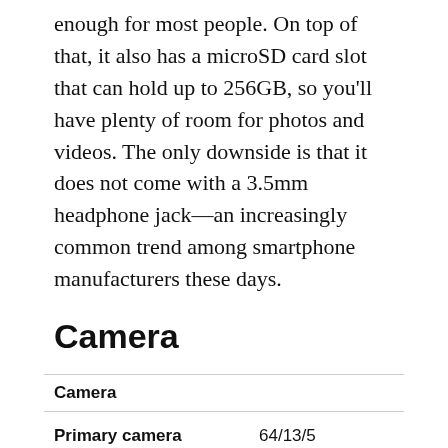enough for most people. On top of that, it also has a microSD card slot that can hold up to 256GB, so you'll have plenty of room for photos and videos. The only downside is that it does not come with a 3.5mm headphone jack—an increasingly common trend among smartphone manufacturers these days.
Camera
| Camera |  |
| --- | --- |
| Primary camera | 64/13/5 Megapixel |
| Secondary camera | 32 Megapixel |